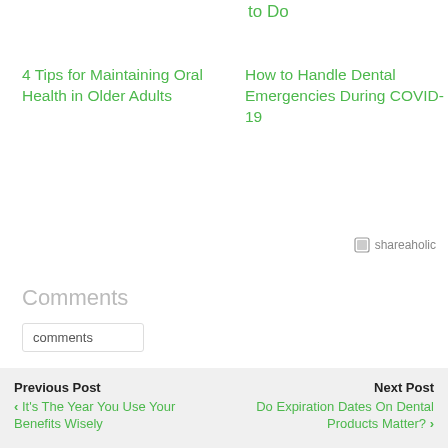to Do
4 Tips for Maintaining Oral Health in Older Adults
How to Handle Dental Emergencies During COVID-19
shareaholic
Comments
comments
Previous Post
‹ It's The Year You Use Your Benefits Wisely
Next Post
Do Expiration Dates On Dental Products Matter? ›